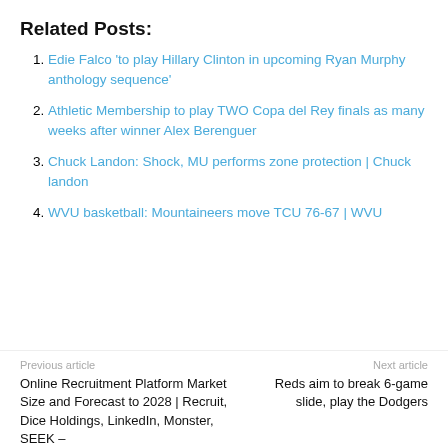Related Posts:
Edie Falco 'to play Hillary Clinton in upcoming Ryan Murphy anthology sequence'
Athletic Membership to play TWO Copa del Rey finals as many weeks after winner Alex Berenguer
Chuck Landon: Shock, MU performs zone protection | Chuck landon
WVU basketball: Mountaineers move TCU 76-67 | WVU
Previous article
Next article
Online Recruitment Platform Market Size and Forecast to 2028 | Recruit, Dice Holdings, LinkedIn, Monster, SEEK –
Reds aim to break 6-game slide, play the Dodgers